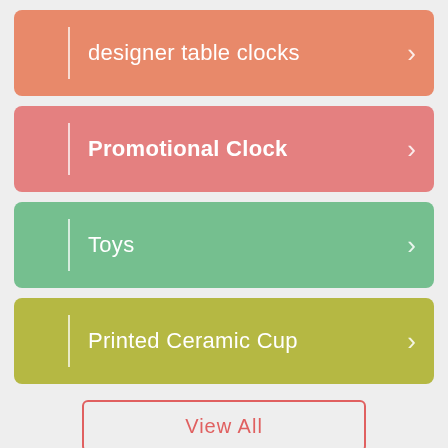designer table clocks
Promotional Clock
Toys
Printed Ceramic Cup
View All